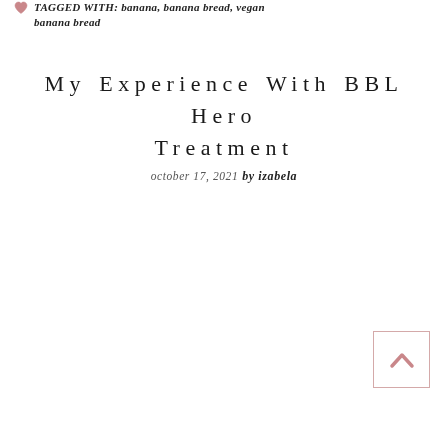TAGGED WITH: banana, banana bread, vegan banana bread
My Experience With BBL Hero Treatment
october 17, 2021 by izabela
[Figure (other): Back to top button — a square button with a pink/rose upward chevron arrow icon, bordered with a light pink border]